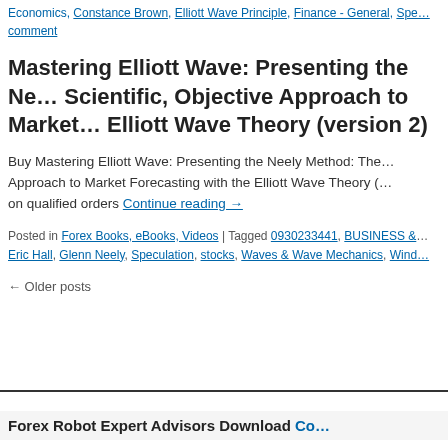Economics, Constance Brown, Elliott Wave Principle, Finance - General, Spe… comment
Mastering Elliott Wave: Presenting the Neely Method: The First Scientific, Objective Approach to Market Forecasting with the Elliott Wave Theory (version 2)
Buy Mastering Elliott Wave: Presenting the Neely Method: The First Scientific, Objective Approach to Market Forecasting with the Elliott Wave Theory (… on qualified orders Continue reading →
Posted in Forex Books, eBooks, Videos | Tagged 0930233441, BUSINESS & … Eric Hall, Glenn Neely, Speculation, stocks, Waves & Wave Mechanics, Wind…
← Older posts
Forex Robot Expert Advisors Download Co…